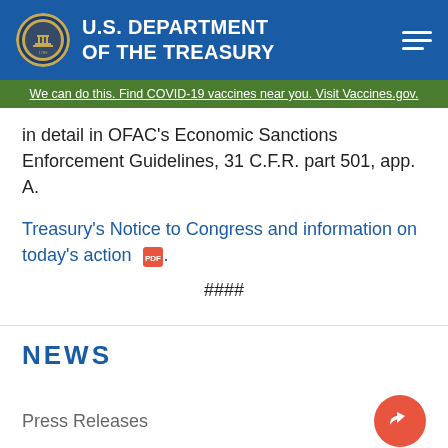U.S. DEPARTMENT OF THE TREASURY
We can do this. Find COVID-19 vaccines near you. Visit Vaccines.gov.
in detail in OFAC’s Economic Sanctions Enforcement Guidelines, 31 C.F.R. part 501, app. A.
Treasury’s Notice to Congress and information on today’s action [PDF].
####
NEWS
Press Releases